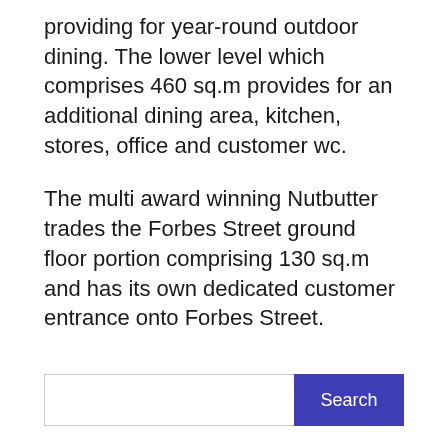providing for year-round outdoor dining. The lower level which comprises 460 sq.m provides for an additional dining area, kitchen, stores, office and customer wc.
The multi award winning Nutbutter trades the Forbes Street ground floor portion comprising 130 sq.m and has its own dedicated customer entrance onto Forbes Street.